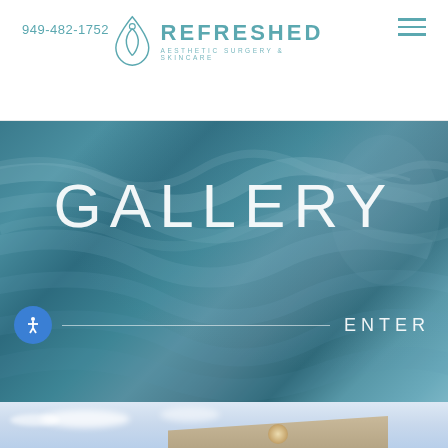949-482-1752
[Figure (logo): Refreshed Aesthetic Surgery & Skincare logo with water drop icon containing a face silhouette]
GALLERY
ENTER
[Figure (photo): Bottom portion of page showing sky with clouds and building roofline with light fixture]